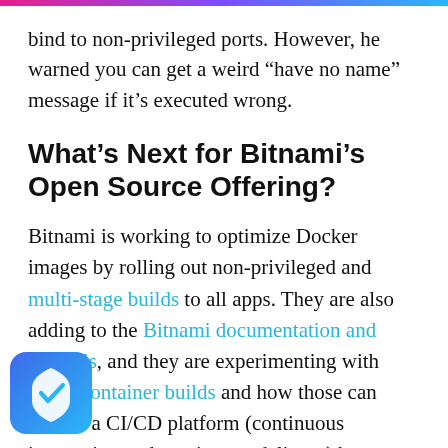bind to non-privileged ports. However, he warned you can get a weird “have no name” message if it’s executed wrong.
What’s Next for Bitnami’s Open Source Offering?
Bitnami is working to optimize Docker images by rolling out non-privileged and multi-stage builds to all apps. They are also adding to the Bitnami documentation and tutorials, and they are experimenting with Bazel container builds and how those can benefit a CI/CD platform (continuous integration and continuous delivery) by running container clusters. Finally, he said Bitnami is also working on some tools for Kubernetes, including
[Figure (illustration): Blue shield icon with a white checkmark]